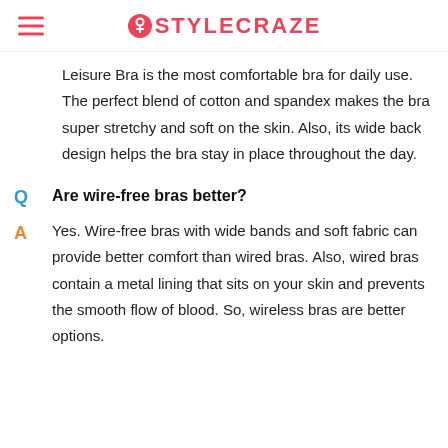STYLECRAZE
Leisure Bra is the most comfortable bra for daily use. The perfect blend of cotton and spandex makes the bra super stretchy and soft on the skin. Also, its wide back design helps the bra stay in place throughout the day.
Q  Are wire-free bras better?
A  Yes. Wire-free bras with wide bands and soft fabric can provide better comfort than wired bras. Also, wired bras contain a metal lining that sits on your skin and prevents the smooth flow of blood. So, wireless bras are better options.